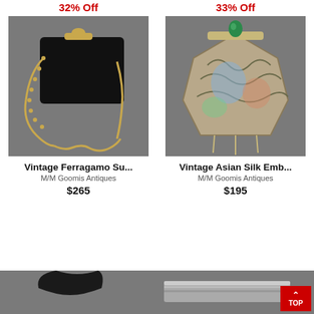32% Off
[Figure (photo): Black Ferragamo suede clutch bag with gold chain strap on gray background]
Vintage Ferragamo Su...
M/M Goomis Antiques
$265
33% Off
[Figure (photo): Vintage Asian silk embroidered purse with green jewel clasp on gray background]
Vintage Asian Silk Emb...
M/M Goomis Antiques
$195
[Figure (photo): Partial view of dark handbag on gray background]
[Figure (photo): Partial view of silver/metallic item on gray background]